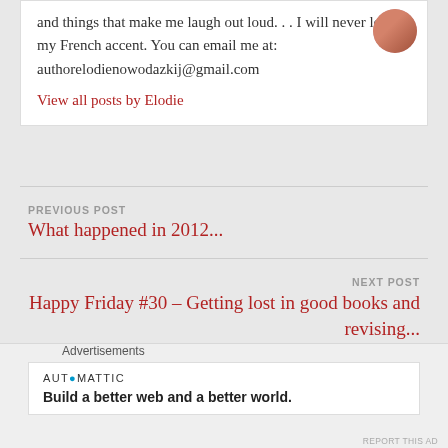and things that make me laugh out loud. . . I will never lose my French accent. You can email me at: authorelodienowodazkij@gmail.com
View all posts by Elodie
PREVIOUS POST
What happened in 2012...
NEXT POST
Happy Friday #30 – Getting lost in good books and revising...
Advertisements
AUTOMATTIC
Build a better web and a better world.
REPORT THIS AD